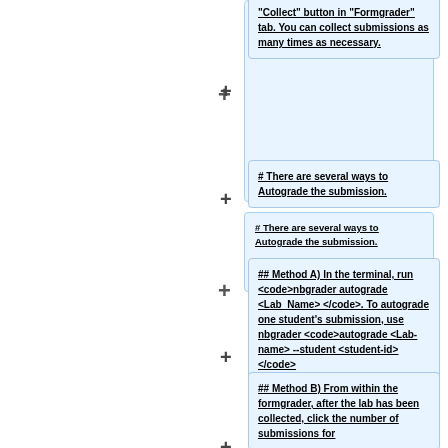“Collect” button in “Formgrader” tab. You can collect submissions as many times as necessary.
# There are several ways to Autograde the submission.
## Method A) In the terminal, run <code>nbgrader autograde <Lab_Name></code>. To autograde one student’s submission, use nbgrader <code>autograde <Lab-name> --student <student-id></code>
## Method B) From within the formgrader, after the lab has been collected, click the number of submissions for